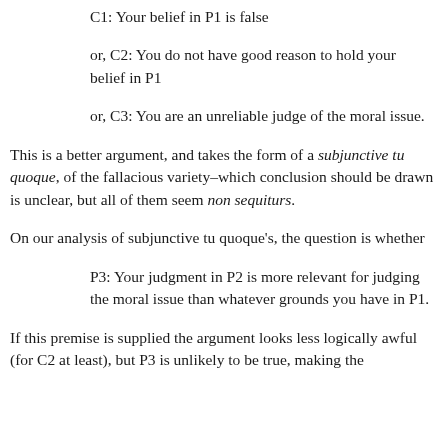C1: Your belief in P1 is false
or, C2: You do not have good reason to hold your belief in P1
or, C3: You are an unreliable judge of the moral issue.
This is a better argument, and takes the form of a subjunctive tu quoque, of the fallacious variety–which conclusion should be drawn is unclear, but all of them seem non sequiturs.
On our analysis of subjunctive tu quoque's, the question is whether
P3: Your judgment in P2 is more relevant for judging the moral issue than whatever grounds you have in P1.
If this premise is supplied the argument looks less logically awful (for C2 at least), but P3 is unlikely to be true, making the